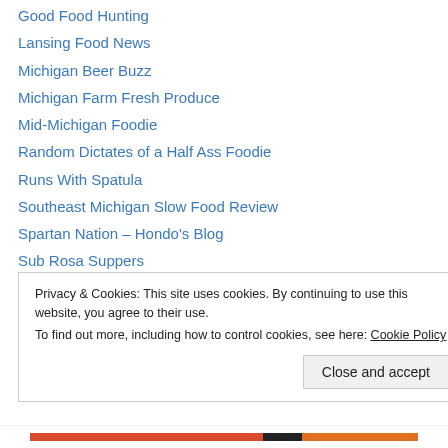Good Food Hunting
Lansing Food News
Michigan Beer Buzz
Michigan Farm Fresh Produce
Mid-Michigan Foodie
Random Dictates of a Half Ass Foodie
Runs With Spatula
Southeast Michigan Slow Food Review
Spartan Nation – Hondo's Blog
Sub Rosa Suppers
The Enlightened Spartan
Up North Foodies
Privacy & Cookies: This site uses cookies. By continuing to use this website, you agree to their use. To find out more, including how to control cookies, see here: Cookie Policy
Close and accept